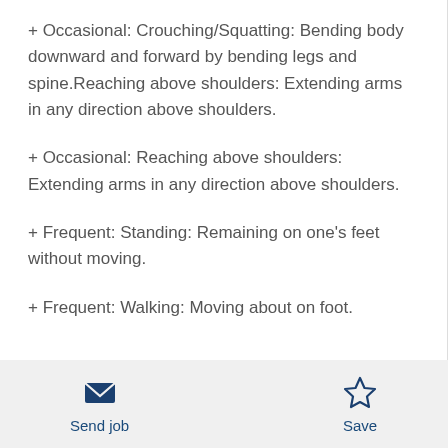+ Occasional: Crouching/Squatting: Bending body downward and forward by bending legs and spine.Reaching above shoulders: Extending arms in any direction above shoulders.
+ Occasional: Reaching above shoulders: Extending arms in any direction above shoulders.
+ Frequent: Standing: Remaining on one's feet without moving.
+ Frequent: Walking: Moving about on foot.
Send job   Save